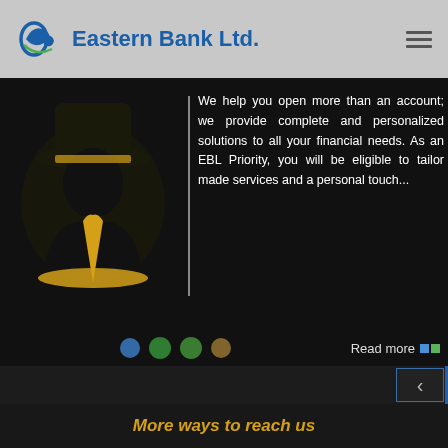[Figure (logo): Eastern Bank Ltd. logo with stylized 'EB' graphic in blue and yellow, bank name in blue text]
[Figure (illustration): Stylized illustration of a businessman in suit with yellow tie and hat silhouette on dark background]
We help you open more than an account; we provide complete and personalized solutions to all your financial needs. As an EBL Priority, you will be eligible to tailor made services and a personal touch...
Read more
More ways to reach us
[Figure (screenshot): EBL SKY Mobile App screenshot on a smartphone]
The grand world of convenience is here. Now, take control of your time. With our state of the art Internet Banking facility, manage, move and see your money grow with more ease and security than ever...